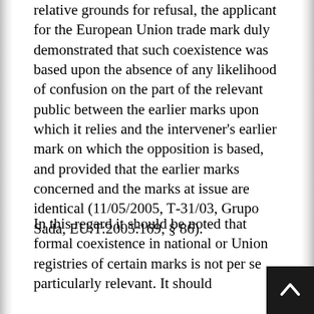relative grounds for refusal, the applicant for the European Union trade mark duly demonstrated that such coexistence was based upon the absence of any likelihood of confusion on the part of the relevant public between the earlier marks upon which it relies and the intervener's earlier mark on which the opposition is based, and provided that the earlier marks concerned and the marks at issue are identical (11/05/2005, T-31/03, Grupo Sada, EU:T:2005:169, § 86).
In this regard it should be noted that formal coexistence in national or Union registries of certain marks is not per se particularly relevant. It should